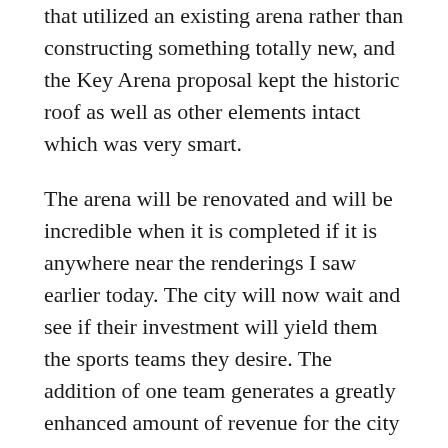that utilized an existing arena rather than constructing something totally new, and the Key Arena proposal kept the historic roof as well as other elements intact which was very smart.
The arena will be renovated and will be incredible when it is completed if it is anywhere near the renderings I saw earlier today. The city will now wait and see if their investment will yield them the sports teams they desire. The addition of one team generates a greatly enhanced amount of revenue for the city and Oak View Group than just having concerts and shows at the venue. The addition of two teams would be a revenue machine and would make for happy residents as well.
Seattle just put the money on the table to become a premiere sports city, a move they were reluctant to